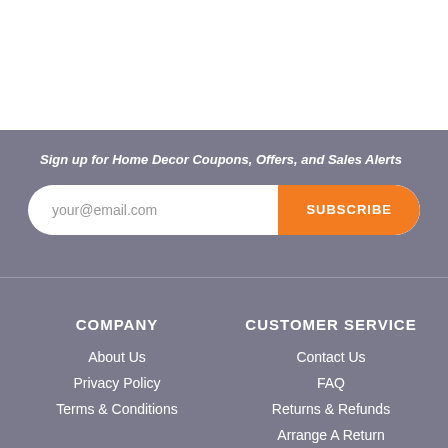Sign up for Home Decor Coupons, Offers, and Sales Alerts
your@email.com
SUBSCRIBE
COMPANY
CUSTOMER SERVICE
About Us
Privacy Policy
Terms & Conditions
Contact Us
FAQ
Returns & Refunds
Arrange A Return